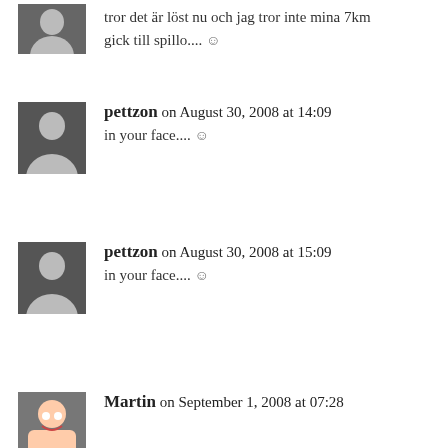tror det är löst nu och jag tror inte mina 7km gick till spillo... 😊
pettzon on August 30, 2008 at 14:09
in your face.... 😊
pettzon on August 30, 2008 at 15:09
in your face.... 😊
Martin on September 1, 2008 at 07:28